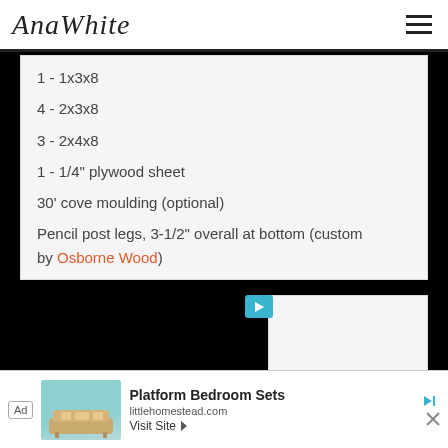AnaWhite
1 - 1x3x8
4 - 2x3x8
3 - 2x4x8
1 - 1/4" plywood sheet
30' cove moulding (optional)
Pencil post legs, 3-1/2" overall at bottom (custom by Osborne Wood)
[Figure (screenshot): Black video player overlay with teal play button]
3/4
1-1
[Figure (screenshot): Advertisement: Platform Bedroom Sets from littlehomestead.com with Visit Site button]